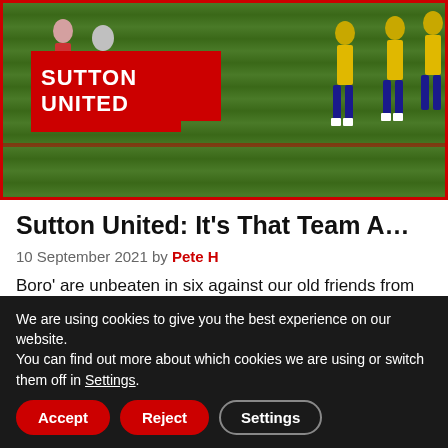[Figure (photo): Football match photo showing players on a grass pitch. A red banner overlay reads 'SUTTON UNITED' in bold white text, framed by red horizontal bars. Players in yellow/gold kits visible on the right side.]
Sutton United: It's That Team A…
10 September 2021 by Pete H
Boro' are unbeaten in six against our old friends from Gander Green Lane. And it's been a while since that was
We are using cookies to give you the best experience on our website.
You can find out more about which cookies we are using or switch them off in Settings.